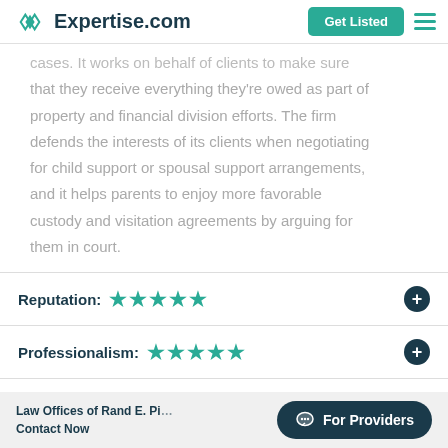Expertise.com | Get Listed
cases. It works on behalf of clients to make sure that they receive everything they're owed as part of property and financial division efforts. The firm defends the interests of its clients when negotiating for child support or spousal support arrangements, and it helps parents to enjoy more favorable custody and visitation agreements by arguing for them in court.
Reputation: ★★★★★
Professionalism: ★★★★★
Law Offices of Rand E. Pi... | Contact Now | For Providers